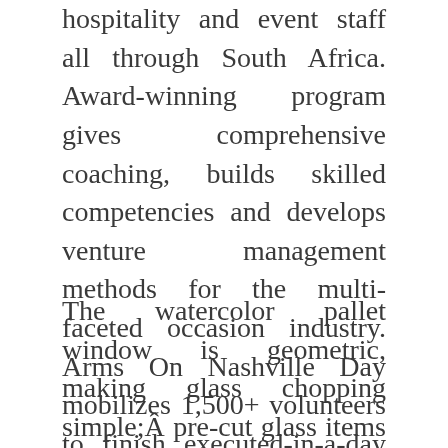hospitality and event staff all through South Africa. Award-winning program gives comprehensive coaching, builds skilled competencies and develops venture management methods for the multi-faceted occasion industry. Arms On Nashville Day mobilizes 1,500+ volunteers to finish executed-in-a-day enchancment projects for Metro Nashville Public Faculties.
The watercolor pallet window is geometric, making glass chopping simple;Â pre-cut glass items are offered to assure each pupil will finish a window inside the time